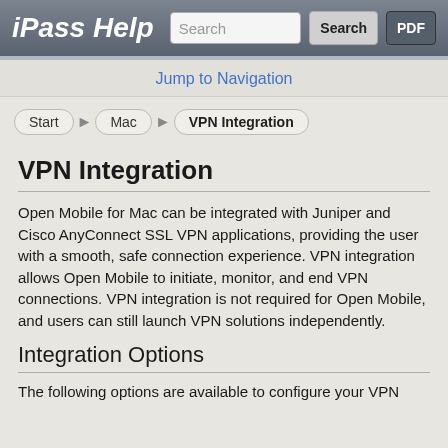iPass Help
Jump to Navigation
Start > Mac > VPN Integration
VPN Integration
Open Mobile for Mac can be integrated with Juniper and Cisco AnyConnect SSL VPN applications, providing the user with a smooth, safe connection experience. VPN integration allows Open Mobile to initiate, monitor, and end VPN connections. VPN integration is not required for Open Mobile, and users can still launch VPN solutions independently.
Integration Options
The following options are available to configure your VPN